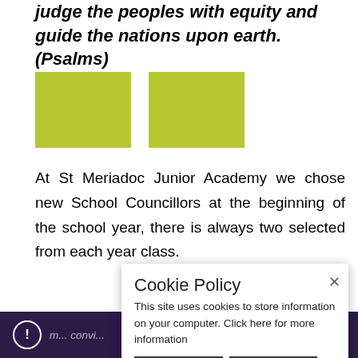judge the peoples with equity and guide the nations upon earth. (Psalms)
[Figure (illustration): Two olive/yellow-green rectangular blocks side by side, partially overlapping with faded background text]
At St Meriadoc Junior Academy we chose new School Councillors at the beginning of the school year, there is always two selected from each year class.
We first talk about what makes a good S... Counci... and then each gets a chance to w... manifesto which explains what they promise to... elected... where we turns t... explain wh... would be a good rep for the school. Children... m... convini...
Cookie Policy
This site uses cookies to store information on your computer. Click here for more information
Allow Cookies   Deny Cookies